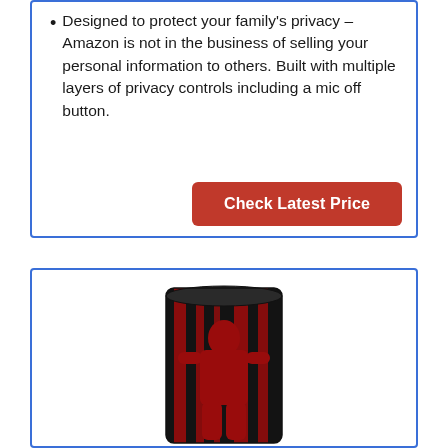Designed to protect your family's privacy – Amazon is not in the business of selling your personal information to others. Built with multiple layers of privacy controls including a mic off button.
[Figure (other): Red 'Check Latest Price' button]
[Figure (photo): Product image: a cylindrical container with black and red design featuring a muscular figure graphic (appears to be a supplement or nutrition product)]